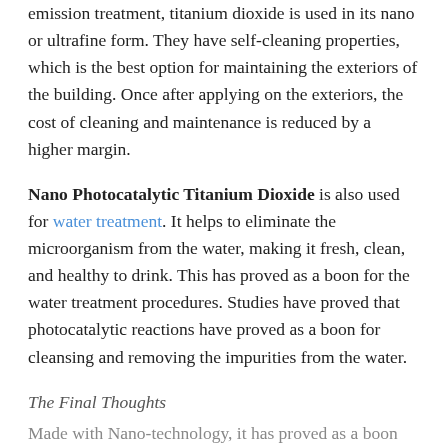emission treatment, titanium dioxide is used in its nano or ultrafine form. They have self-cleaning properties, which is the best option for maintaining the exteriors of the building. Once after applying on the exteriors, the cost of cleaning and maintenance is reduced by a higher margin.
Nano Photocatalytic Titanium Dioxide is also used for water treatment. It helps to eliminate the microorganism from the water, making it fresh, clean, and healthy to drink. This has proved as a boon for the water treatment procedures. Studies have proved that photocatalytic reactions have proved as a boon for cleansing and removing the impurities from the water.
The Final Thoughts
Made with Nano-technology, it has proved as a boon